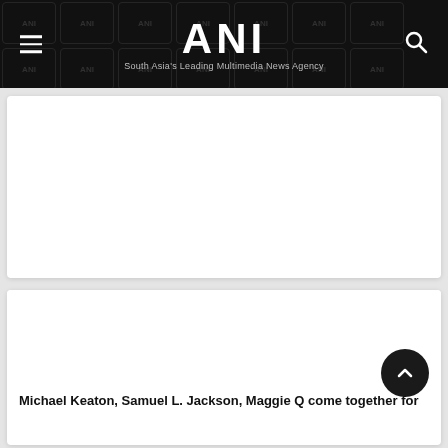ANI — South Asia's Leading Multimedia News Agency
[Figure (screenshot): White image card placeholder area (first card, blank)]
[Figure (screenshot): White image card placeholder area (second card, blank) with back-to-top button]
Michael Keaton, Samuel L. Jackson, Maggie Q come together for